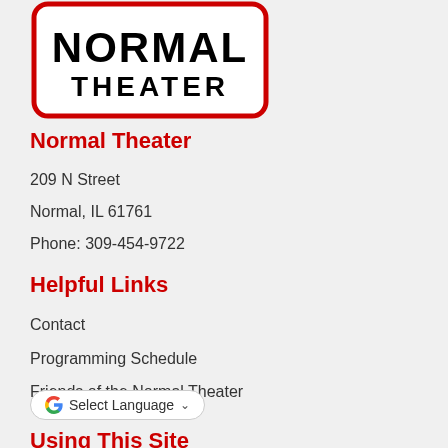[Figure (logo): Normal Theater logo — bold black block letters reading NORMAL THEATER inside a rounded rectangle with red border]
Normal Theater
209 N Street
Normal, IL 61761
Phone: 309-454-9722
Helpful Links
Contact
Programming Schedule
Friends of the Normal Theater
[Figure (other): Google Translate widget button with Google G logo and 'Select Language' dropdown]
Using This Site